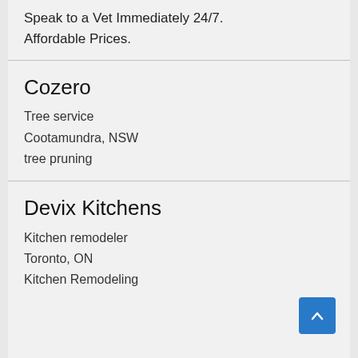Speak to a Vet Immediately 24/7. Affordable Prices.
Cozero
Tree service
Cootamundra, NSW
tree pruning
Devix Kitchens
Kitchen remodeler
Toronto, ON
Kitchen Remodeling